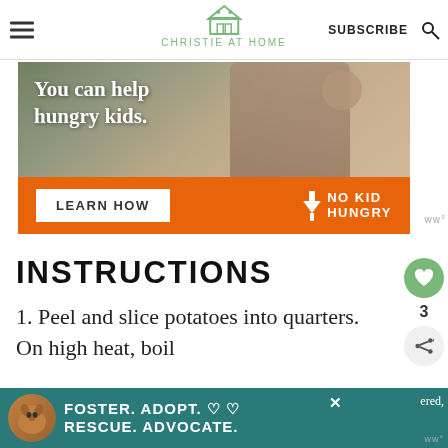CHRISTIE AT HOME
[Figure (photo): No Kid Hungry advertisement banner showing a child eating, with orange bar containing 'LEARN HOW' button and No Kid Hungry logo]
INSTRUCTIONS
1. Peel and slice potatoes into quarters. On high heat, boil
[Figure (infographic): Bottom banner ad: Foster. Adopt. Rescue. Advocate. with dog image on teal background]